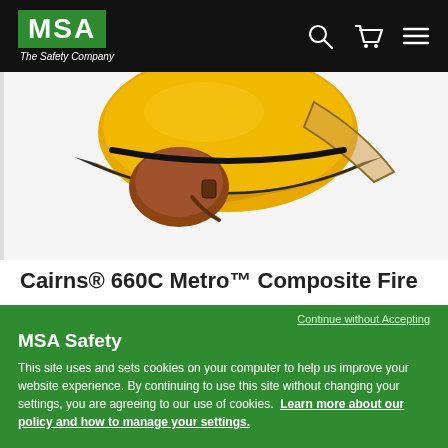MSA The Safety Company
[Figure (photo): Yellow and orange Cairns firefighter helmet with face shield and ear protection, shown from above on white background]
Cairns® 660C Metro™ Composite Fire
Continue without Accepting
MSA Safety
This site uses and sets cookies on your computer to help us improve your website experience. By continuing to use this site without changing your settings, you are agreeing to our use of cookies. Learn more about our policy and how to manage your settings.